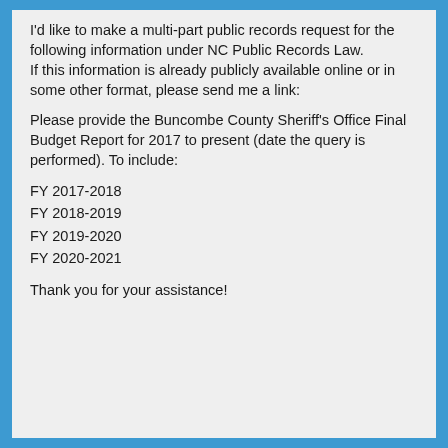I'd like to make a multi-part public records request for the following information under NC Public Records Law. If this information is already publicly available online or in some other format, please send me a link:
Please provide the Buncombe County Sheriff's Office Final Budget Report for 2017 to present (date the query is performed). To include:
FY 2017-2018
FY 2018-2019
FY 2019-2020
FY 2020-2021
Thank you for your assistance!